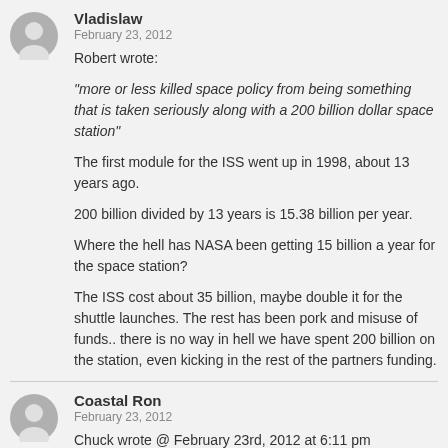Vladislaw
February 23, 2012

Robert wrote:

“more or less killed space policy from being something that is taken seriously along with a 200 billion dollar space station”

The first module for the ISS went up in 1998, about 13 years ago.

200 billion divided by 13 years is 15.38 billion per year.

Where the hell has NASA been getting 15 billion a year for the space station?

The ISS cost about 35 billion, maybe double it for the shuttle launches. The rest has been pork and misuse of funds.. there is no way in hell we have spent 200 billion on the station, even kicking in the rest of the partners funding.
Coastal Ron
February 23, 2012

Chuck wrote @ February 23rd, 2012 at 6:11 pm